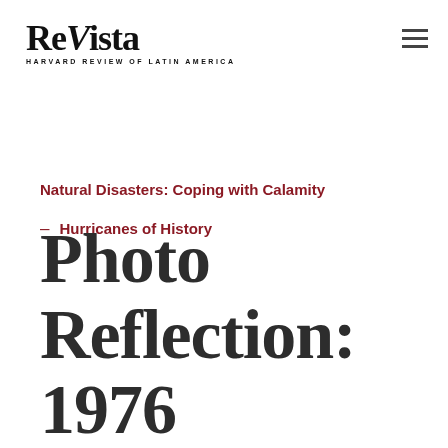ReVista — HARVARD REVIEW OF LATIN AMERICA
Natural Disasters: Coping with Calamity
– Hurricanes of History
Photo Reflection: 1976